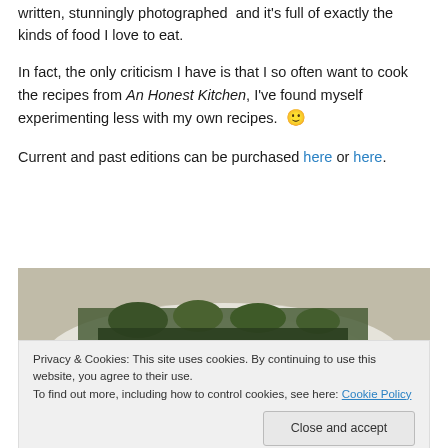written, stunningly photographed and it's full of exactly the kinds of food I love to eat.
In fact, the only criticism I have is that I so often want to cook the recipes from An Honest Kitchen, I've found myself experimenting less with my own recipes. 🙂
Current and past editions can be purchased here or here.
[Figure (photo): Close-up photo of a dish with fresh herbs and greens on a white plate, partial view]
Privacy & Cookies: This site uses cookies. By continuing to use this website, you agree to their use.
To find out more, including how to control cookies, see here: Cookie Policy
[Figure (photo): Bottom portion of a food photo showing dark green leafy vegetables]